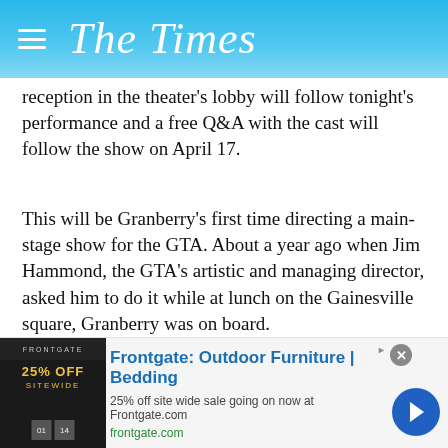The Times
reception in the theater's lobby will follow tonight's performance and a free Q&A with the cast will follow the show on April 17.
This will be Granberry's first time directing a main-stage show for the GTA. About a year ago when Jim Hammond, the GTA's artistic and managing director, asked him to do it while at lunch on the Gainesville square, Granberry was on board.
His previous work includes the preschool series, “Tumble Leaf,” which won an Emmy in both 2015 and 2016. There’s also the feature film, “Anomalisa,” which was nominated for an Oscar and Golden Globe in 2016.
[Figure (other): Advertisement banner for Frontgate: Outdoor Furniture and Bedding. Shows 25% off site wide sale going on now at Frontgate.com. URL: frontgate.com. Includes product image on left and navigation arrow button on right.]